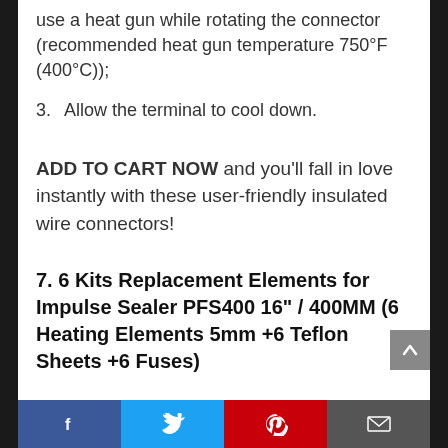use a heat gun while rotating the connector (recommended heat gun temperature 750°F (400°C));
3. Allow the terminal to cool down.
ADD TO CART NOW and you'll fall in love instantly with these user-friendly insulated wire connectors!
7. 6 Kits Replacement Elements for Impulse Sealer PFS400 16" / 400MM (6 Heating Elements 5mm +6 Teflon Sheets +6 Fuses)
Facebook | Twitter | Pinterest | Email